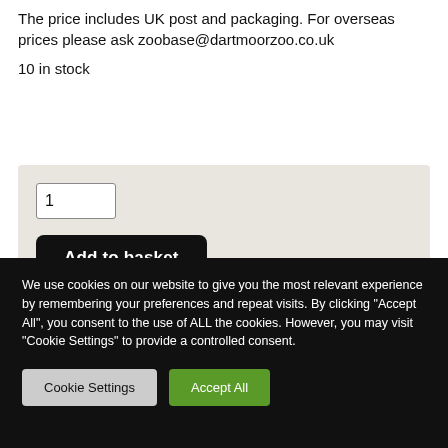The price includes UK post and packaging. For overseas prices please ask zoobase@dartmoorzoo.co.uk
10 in stock
[Figure (screenshot): E-commerce quantity input field showing '1' and a black 'Add to basket' button on a light beige background]
We use cookies on our website to give you the most relevant experience by remembering your preferences and repeat visits. By clicking "Accept All", you consent to the use of ALL the cookies. However, you may visit "Cookie Settings" to provide a controlled consent.
Cookie Settings   Accept All